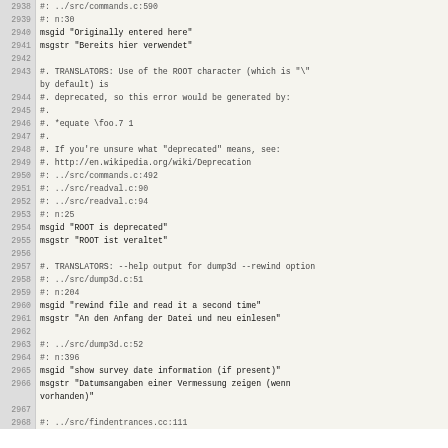Code/translation file listing lines 2938-2968
| line | content |
| --- | --- |
| 2938 | #: ../src/commands.c:590 |
| 2939 | #: n:30 |
| 2940 | msgid "Originally entered here" |
| 2941 | msgstr "Bereits hier verwendet" |
| 2942 |  |
| 2943 | #. TRANSLATORS: Use of the ROOT character (which is "\" by default) is |
| 2944 | #. deprecated, so this error would be generated by: |
| 2945 | #. |
| 2946 | #. *equate \foo.7 1 |
| 2947 | #. |
| 2948 | #. If you're unsure what "deprecated" means, see: |
| 2949 | #. http://en.wikipedia.org/wiki/Deprecation |
| 2950 | #: ../src/commands.c:492 |
| 2951 | #: ../src/readval.c:90 |
| 2952 | #: ../src/readval.c:94 |
| 2953 | #: n:25 |
| 2954 | msgid "ROOT is deprecated" |
| 2955 | msgstr "ROOT ist veraltet" |
| 2956 |  |
| 2957 | #. TRANSLATORS: --help output for dump3d --rewind option |
| 2958 | #: ../src/dump3d.c:51 |
| 2959 | #: n:204 |
| 2960 | msgid "rewind file and read it a second time" |
| 2961 | msgstr "An den Anfang der Datei und neu einlesen" |
| 2962 |  |
| 2963 | #: ../src/dump3d.c:52 |
| 2964 | #: n:396 |
| 2965 | msgid "show survey date information (if present)" |
| 2966 | msgstr "Datumsangaben einer Vermessung zeigen (wenn vorhanden)" |
| 2967 |  |
| 2968 | #: ../src/findentrances.cc:111 |